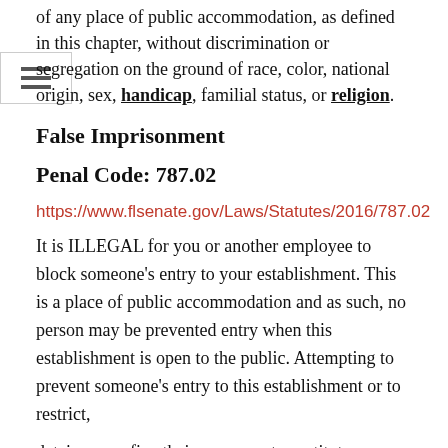of any place of public accommodation, as defined in this chapter, without discrimination or segregation on the ground of race, color, national origin, sex, handicap, familial status, or religion.
False Imprisonment
Penal Code: 787.02
https://www.flsenate.gov/Laws/Statutes/2016/787.02
It is ILLEGAL for you or another employee to block someone's entry to your establishment. This is a place of public accommodation and as such, no person may be prevented entry when this establishment is open to the public. Attempting to prevent someone's entry to this establishment or to restrict,
detain or confine their movement constitutes FALSE IMPRISONMENT.